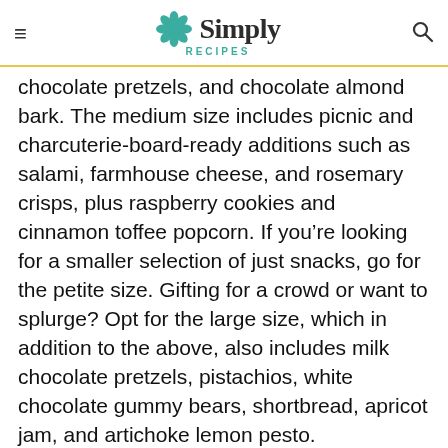Simply Recipes
chocolate pretzels, and chocolate almond bark. The medium size includes picnic and charcuterie-board-ready additions such as salami, farmhouse cheese, and rosemary crisps, plus raspberry cookies and cinnamon toffee popcorn. If you’re looking for a smaller selection of just snacks, go for the petite size. Gifting for a crowd or want to splurge? Opt for the large size, which in addition to the above, also includes milk chocolate pretzels, pistachios, white chocolate gummy bears, shortbread, apricot jam, and artichoke lemon pesto.
[Figure (other): Dotdash Meredith advertisement banner: 'We help people find answers, solve problems and get inspired.']